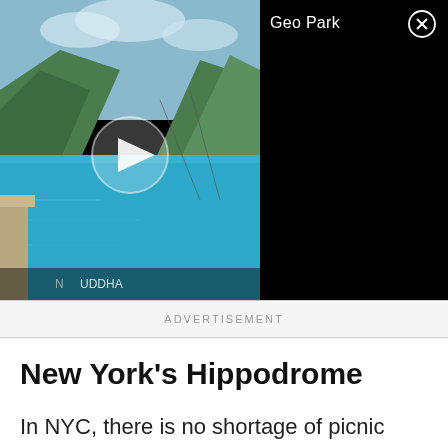[Figure (screenshot): Video advertisement showing a scenic lake with green hills and blue water. A play button is overlaid on the thumbnail. The right half is black with the text 'Geo Park' and a close (X) button in the top right corner.]
ADVERTISEMENT
New York's Hippodrome
In NYC, there is no shortage of picnic entertainment venues from a bygone era. The old New York Hippodrome in Manhattan has been radically transformed, and no longer exists in its